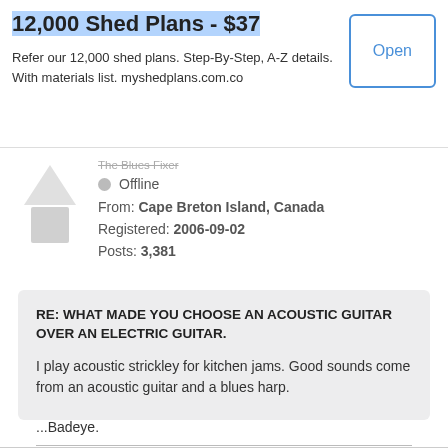[Figure (screenshot): Advertisement banner for '12,000 Shed Plans - $37' with an Open button]
The Blues Fixer
Offline
From: Cape Breton Island, Canada
Registered: 2006-09-02
Posts: 3,381
RE: WHAT MADE YOU CHOOSE AN ACOUSTIC GUITAR OVER AN ELECTRIC GUITAR.
I play acoustic strickley for kitchen jams. Good sounds come from an acoustic guitar and a blues harp.
...Badeye.
one caper after another